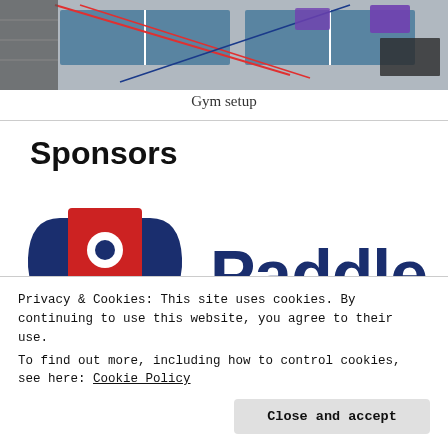[Figure (photo): Aerial/overhead view of a table tennis gym setup with multiple tables, red and blue lines on the floor.]
Gym setup
Sponsors
[Figure (logo): Paddle Palace logo — blue and red icon of a figure holding two paddles, with 'Paddle Palace' text in dark blue.]
Privacy & Cookies: This site uses cookies. By continuing to use this website, you agree to their use.
To find out more, including how to control cookies, see here: Cookie Policy
Close and accept